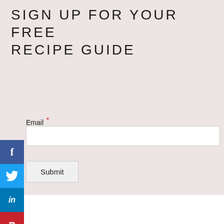SIGN UP FOR YOUR FREE RECIPE GUIDE
Email *
[Figure (screenshot): Email input field (text box)]
Submit
[Figure (infographic): Social media sharing sidebar with Facebook (blue), Twitter (light blue), LinkedIn (dark blue), and Pinterest (red) buttons showing f, twitter bird, in, and P icons respectively]